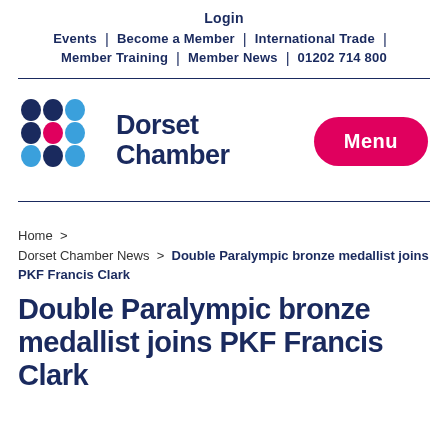Login | Events | Become a Member | International Trade | Member Training | Member News | 01202 714 800
[Figure (logo): Dorset Chamber logo with coloured dots grid and text 'Dorset Chamber']
Menu
Home > Dorset Chamber News > Double Paralympic bronze medallist joins PKF Francis Clark
Double Paralympic bronze medallist joins PKF Francis Clark